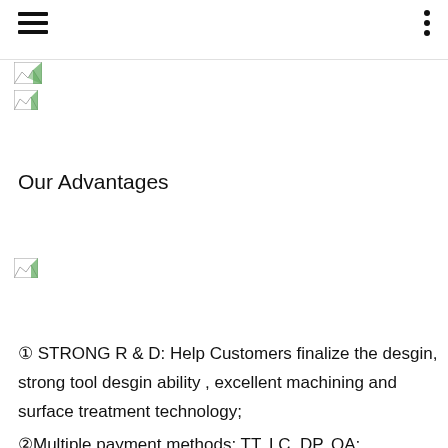[Figure (photo): Broken/missing image placeholder (small, top area)]
[Figure (photo): Broken/missing image placeholder (small, upper area)]
Our Advantages
[Figure (photo): Broken/missing image placeholder (middle area)]
① STRONG R & D: Help Customers finalize the desgin, strong tool desgin ability , excellent machining and surface treatment technology;
②Multiple payment methods: TT, LC, DP, OA;